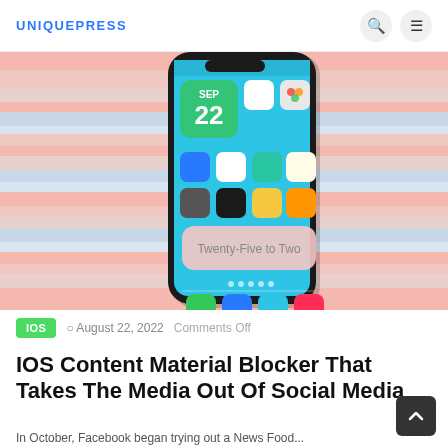UNIQUEPRESS
[Figure (photo): iPhone home screen showing iOS interface with app icons, date widget showing SEP 22, and analog clock widget reading Twenty-Five to Two, on a pink and white striped background]
IOS  August 22, 2022  Comments Off
IOS Content Material Blocker That Takes The Media Out Of Social Media
In October, Facebook began trying out a News Food...